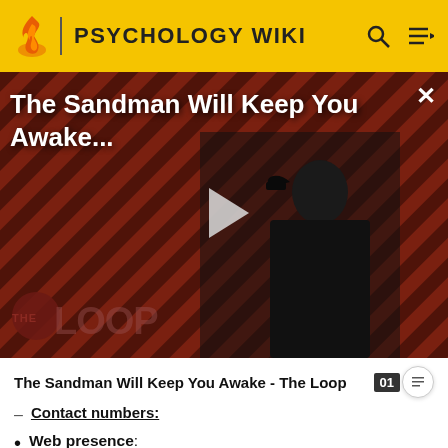PSYCHOLOGY WIKI
[Figure (screenshot): Video thumbnail for 'The Sandman Will Keep You Awake...' showing a figure in black robes with a raven on a diagonal striped red/dark background, with THE LOOP watermark and a play button overlay]
The Sandman Will Keep You Awake - The Loop
Contact numbers:
Web presence:
Journal home
Human Behavior and Evolution Society